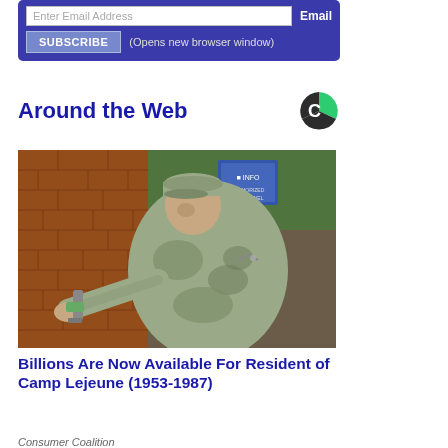[Figure (other): Email subscribe box with blue background, email input field, Email label, SUBSCRIBE button, and '(Opens new browser window)' text]
Around the Web
[Figure (logo): Circular logo with green and dark segments, white C shape]
[Figure (photo): A soldier in camouflage uniform and cap crouching near a brick wall, working on a water valve or pipe fixture]
Billions Are Now Available For Resident of Camp Lejeune (1953-1987)
Consumer Coalition